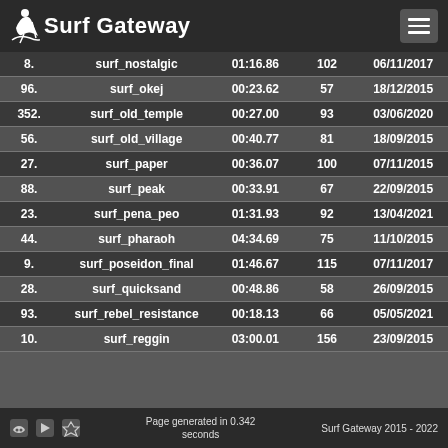Surf Gateway
| # | Map Name | Time | Bonus | Date |
| --- | --- | --- | --- | --- |
| 8. | surf_nostalgic | 01:16.86 | 102 | 06/11/2017 |
| 96. | surf_okej | 00:23.62 | 57 | 18/12/2015 |
| 352. | surf_old_temple | 00:27.00 | 93 | 03/06/2020 |
| 56. | surf_old_village | 00:40.77 | 81 | 18/09/2015 |
| 27. | surf_paper | 00:36.07 | 100 | 07/11/2015 |
| 88. | surf_peak | 00:33.91 | 67 | 22/09/2015 |
| 23. | surf_pena_peo | 01:31.93 | 92 | 13/04/2021 |
| 44. | surf_pharaoh | 04:34.69 | 75 | 11/10/2015 |
| 9. | surf_poseidon_final | 01:46.67 | 115 | 07/11/2017 |
| 28. | surf_quicksand | 00:48.86 | 58 | 26/09/2015 |
| 93. | surf_rebel_resistance | 00:18.13 | 66 | 05/05/2021 |
| 10. | surf_reggin | 03:00.01 | 156 | 23/09/2015 |
Page generated in 0.342 seconds   Surf Gateway 2015 - 2022